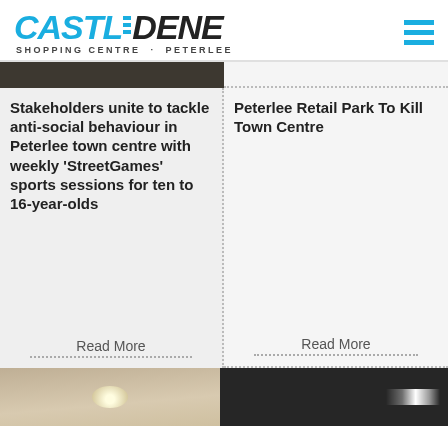Castledene Shopping Centre · Peterlee
[Figure (photo): Partial top image strip showing dark/brown background]
Stakeholders unite to tackle anti-social behaviour in Peterlee town centre with weekly 'StreetGames' sports sessions for ten to 16-year-olds
Read More
Peterlee Retail Park To Kill Town Centre
Read More
[Figure (photo): Two partial photos at bottom: indoor ceiling with light on left, dark indoor scene on right]